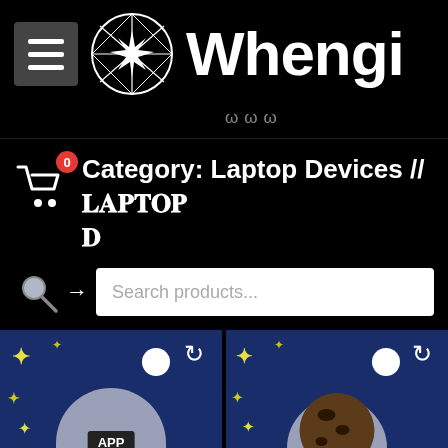[Figure (screenshot): Whengi e-commerce app header: hamburger menu button (dark grey), geometric star logo (white wireframe circle with star), brand name 'Whengi' in large white text]
ωωω
Category: Laptop Devices // 𝐋𝐀𝐏𝐓𝐎𝐏 𝐃
Search products...
[Figure (illustration): Two product thumbnail cards side by side on dark blue starry night background, left shows an app store dome building with 'APP' sign, right shows a cookie/food item, both with sparkle stars and crescent moon decorations]